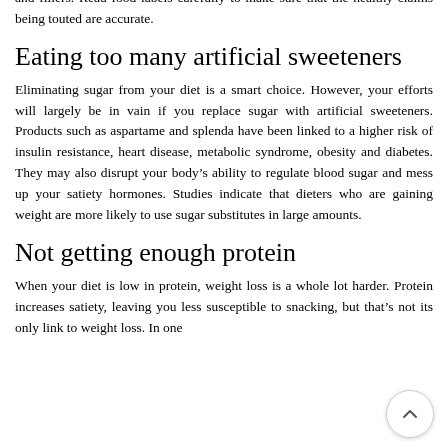and fillers. Read food labels carefully to make sure that the healthy claims being touted are accurate.
Eating too many artificial sweeteners
Eliminating sugar from your diet is a smart choice. However, your efforts will largely be in vain if you replace sugar with artificial sweeteners. Products such as aspartame and splenda have been linked to a higher risk of insulin resistance, heart disease, metabolic syndrome, obesity and diabetes. They may also disrupt your body's ability to regulate blood sugar and mess up your satiety hormones. Studies indicate that dieters who are gaining weight are more likely to use sugar substitutes in large amounts.
Not getting enough protein
When your diet is low in protein, weight loss is a whole lot harder. Protein increases satiety, leaving you less susceptible to snacking, but that's not its only link to weight loss. In one